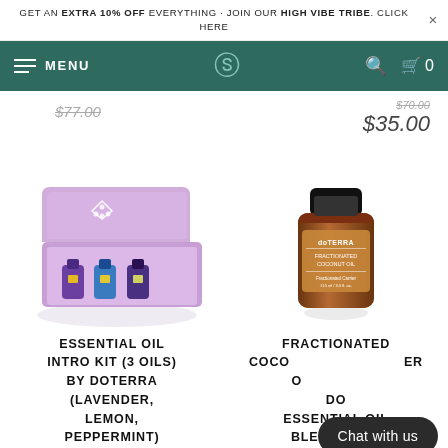GET AN EXTRA 10% OFF EVERYTHING - JOIN OUR HIGH VIBE TRIBE. CLICK HERE
MENU
$77.00
$35.00
[Figure (photo): Purple magnetic gift box open showing three small essential oil bottles inside, with doTERRA logo on the lid]
[Figure (photo): Brown amber glass bottle of doTERRA Fractionated Coconut Oil with black cap]
ESSENTIAL OIL INTRO KIT (3 OILS) BY DOTERRA (LAVENDER, LEMON, PEPPERMINT)
FRACTIONATED COCONUT OIL BY DOTERRA ESSENTIAL OIL BLENDS AND
Chat with us